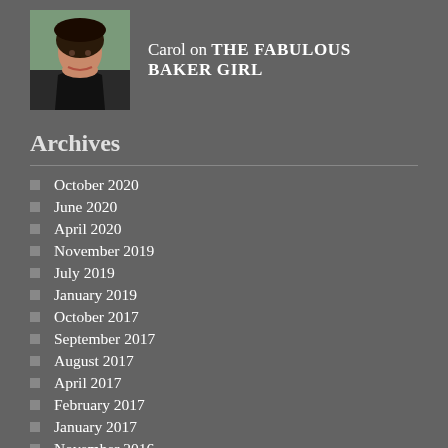[Figure (photo): Small square portrait photo of Carol, a woman with dark hair and a red shirt, smiling.]
Carol on THE FABULOUS BAKER GIRL
Archives
October 2020
June 2020
April 2020
November 2019
July 2019
January 2019
October 2017
September 2017
August 2017
April 2017
February 2017
January 2017
November 2016
October 2016
September 2016
July 2016
June 2016
May 2016
March 2016